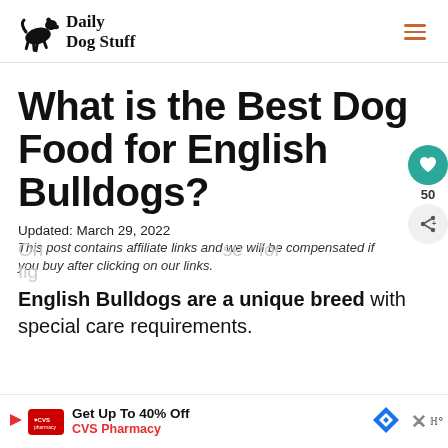Daily Dog Stuff
What is the Best Dog Food for English Bulldogs?
Updated: March 29, 2022
This post contains affiliate links and we will be compensated if you buy after clicking on our links.
English Bulldogs are a unique breed with special care requirements.
[Figure (infographic): CVS Pharmacy advertisement banner: Get Up To 40% Off CVS Pharmacy]